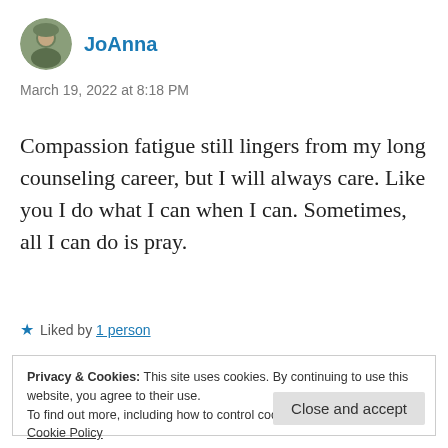[Figure (photo): Circular avatar photo of user JoAnna]
JoAnna
March 19, 2022 at 8:18 PM
Compassion fatigue still lingers from my long counseling career, but I will always care. Like you I do what I can when I can. Sometimes, all I can do is pray.
★ Liked by 1 person
Privacy & Cookies: This site uses cookies. By continuing to use this website, you agree to their use.
To find out more, including how to control cookies, see here:
Cookie Policy